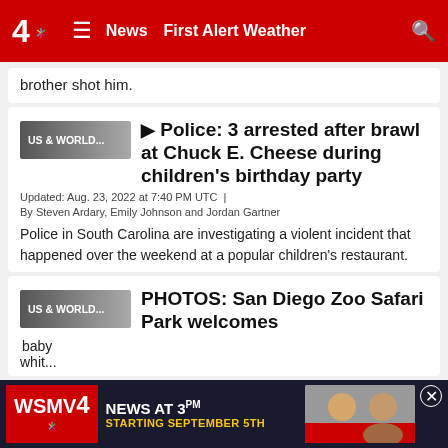4 NBC News First Alert Weather
brother shot him.
Police: 3 arrested after brawl at Chuck E. Cheese during children's birthday party
Updated: Aug. 23, 2022 at 7:40 PM UTC  |
By Steven Ardary, Emily Johnson and Jordan Gartner
Police in South Carolina are investigating a violent incident that happened over the weekend at a popular children's restaurant.
PHOTOS: San Diego Zoo Safari Park welcomes
baby
whit...
[Figure (screenshot): WSMV4 News advertisement banner at bottom of page showing 'NEWS AT 3PM STARTING SEPTEMBER 5TH' with two news anchors]